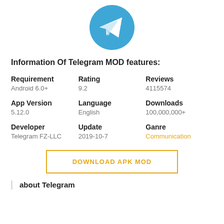[Figure (logo): Telegram app logo — blue circle with white paper plane icon]
Information Of Telegram MOD features:
| Requirement | Rating | Reviews |
| --- | --- | --- |
| Android 6.0+ | 9.2 | 4115574 |
| App Version | Language | Downloads |
| --- | --- | --- |
| 5.12.0 | English | 100,000,000+ |
| Developer | Update | Ganre |
| --- | --- | --- |
| Telegram FZ-LLC | 2019-10-7 | Communication |
DOWNLOAD APK MOD
about Telegram